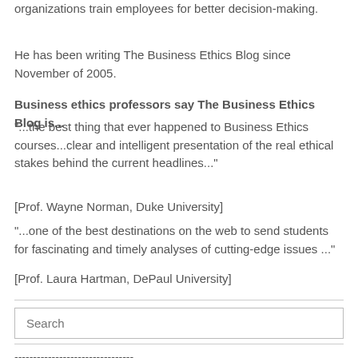organizations train employees for better decision-making.
He has been writing The Business Ethics Blog since November of 2005.
Business ethics professors say The Business Ethics Blog is...
"...the best thing that ever happened to Business Ethics courses...clear and intelligent presentation of the real ethical stakes behind the current headlines..."
[Prof. Wayne Norman, Duke University]
"...one of the best destinations on the web to send students for fascinating and timely analyses of cutting-edge issues ..."
[Prof. Laura Hartman, DePaul University]
[Figure (other): Search input box with placeholder text 'Search']
--------------------------------